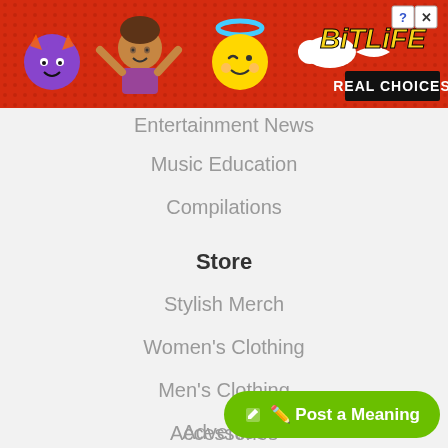[Figure (screenshot): BitLife advertisement banner with red dotted background, emoji characters (devil, person, angel), sperm logo, BitLife yellow italic text, and 'REAL CHOICES' black banner. Close and help buttons in top right corner.]
Entertainment News
Music Education
Compilations
Store
Stylish Merch
Women's Clothing
Men's Clothing
Accessories
Collections
Support
About
Advertise
[Figure (screenshot): Green rounded button with pencil icon and text 'Post a Meaning']